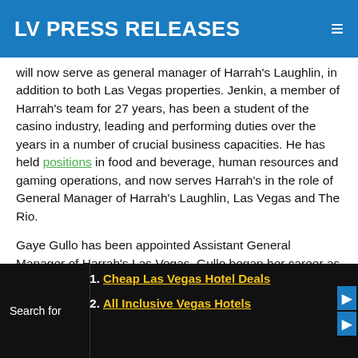LV PRESS RELEASES
will now serve as general manager of Harrah's Laughlin, in addition to both Las Vegas properties. Jenkin, a member of Harrah's team for 27 years, has been a student of the casino industry, leading and performing duties over the years in a number of crucial business capacities. He has held positions in food and beverage, human resources and gaming operations, and now serves Harrah's in the role of General Manager of Harrah's Laughlin, Las Vegas and The Rio.
Gaye Gullo has been appointed Assistant General Manager of Harrah's Las Vegas. Gullo began her career as a Bus Operations Supervisor, and in the past 16 years has continued to grow her career through a number of additional positions within Harrah's. Gullo played a key role in the opening numerous Harrah's riverboat properties and, most recently, headed up marketing in the Eastern Division.
1. Cheap Las Vegas Hotel Deals
2. All Inclusive Vegas Hotels